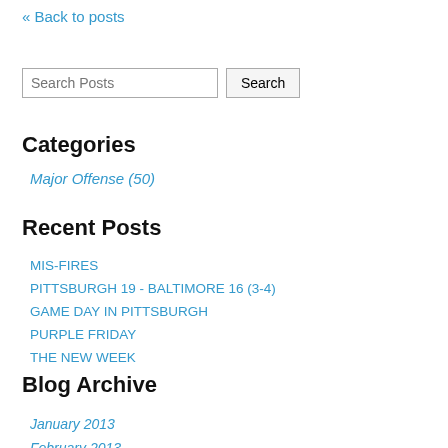« Back to posts
Categories
Major Offense (50)
Recent Posts
MIS-FIRES
PITTSBURGH 19 - BALTIMORE 16 (3-4)
GAME DAY IN PITTSBURGH
PURPLE FRIDAY
THE NEW WEEK
Blog Archive
January 2013
February 2013